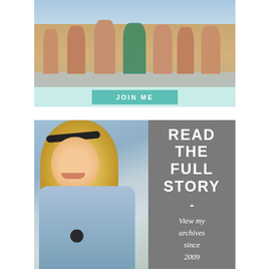[Figure (photo): Group of women in bikinis sitting at the beach from behind, with water and sand visible]
JOIN ME
[Figure (photo): Smiling blonde woman in blue top with diagonal gray panel overlay on the right side]
READ THE FULL STORY
- View my archives since 2009